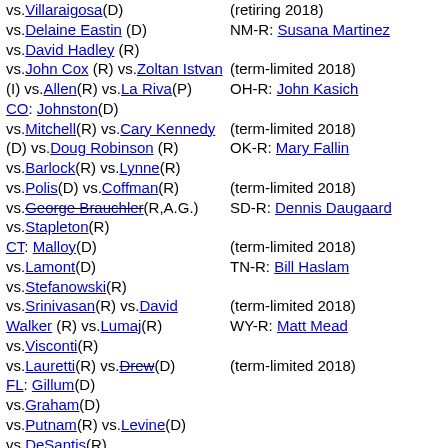vs.Villaraigosa(D) vs.Delaine Eastin (D) vs.David Hadley (R) vs.John Cox (R) vs.Zoltan Istvan (I) vs.Allen(R) vs.La Riva(P) CO: Johnston(D) vs.Mitchell(R) vs.Cary Kennedy (D) vs.Doug Robinson (R) vs.Barlock(R) vs.Lynne(R) vs.Polis(D) vs.Coffman(R) vs.George Brauchler(R,A.G.) vs.Stapleton(R) CT: Malloy(D) vs.Lamont(D) vs.Stefanowski(R) vs.Srinivasan(R) vs.David Walker (R) vs.Lumaj(R) vs.Visconti(R) vs.Lauretti(R) vs.Drew(D) FL: Gillum(D) vs.Graham(D) vs.Putnam(R) vs.Levine(D) vs.DeSantis(R) GA: Kemp(R) vs.Cagle(R) vs.Hill(R) vs.Abrams(D) vs.Levine(D) HI: Ige(D) vs.Hanabusa(D) vs.Tupola(R) vs.Carroll(R)
NM-R: Susana Martinez (retiring 2018) OH-R: John Kasich (term-limited 2018) OK-R: Mary Fallin (term-limited 2018) SD-R: Dennis Daugaard (term-limited 2018) TN-R: Bill Haslam (term-limited 2018) WY-R: Matt Mead (term-limited 2018)